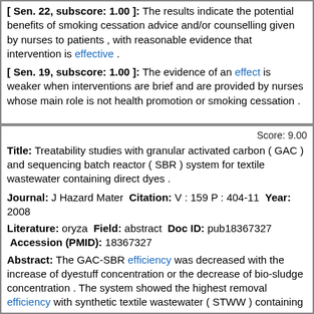[ Sen. 22, subscore: 1.00 ]: The results indicate the potential benefits of smoking cessation advice and/or counselling given by nurses to patients , with reasonable evidence that intervention is effective .
[ Sen. 19, subscore: 1.00 ]: The evidence of an effect is weaker when interventions are brief and are provided by nurses whose main role is not health promotion or smoking cessation .
Score: 9.00
Title: Treatability studies with granular activated carbon ( GAC ) and sequencing batch reactor ( SBR ) system for textile wastewater containing direct dyes .
Journal: J Hazard Mater Citation: V : 159 P : 404-11 Year: 2008
Literature: oryza Field: abstract Doc ID: pub18367327 Accession (PMID): 18367327
Abstract: The GAC-SBR efficiency was decreased with the increase of dyestuff concentration or the decrease of bio-sludge concentration . The system showed the highest removal efficiency with synthetic textile wastewater ( STWW ) containing 40 mg/L direct red 23 or direct blue 201 under MLSS of 3 , 000 mg/L and hydraulic retention time ( HRT ) of 7 . 5 days . But , the effluent NO ( 3 ) ( - ) was higher than that of the influent . Direct red 23 was more effective than direct blue 201 to repress the GAC-SBR system efficiency . The dyes removal efficiency of the system with STWW containing direct red 23 was reduced by 30% with the increase of direct red 23 from 40 mg/L to 160 mg/L The system with raw textile wastewater ( TWW ) showed quite low BOD ( 5 ) TKN and dye removal efficiencies of only 64 . 7+/-4 . 9% and 50 . 2+/-6 . 9% , respectively . But its efficiencies could be increased by adding carbon sources ( BOD ( 5 ) ) . The dye removal efficiency with TWW was increased by 30% and 20% by adding glucose ( TWW+glucose ) or Thai